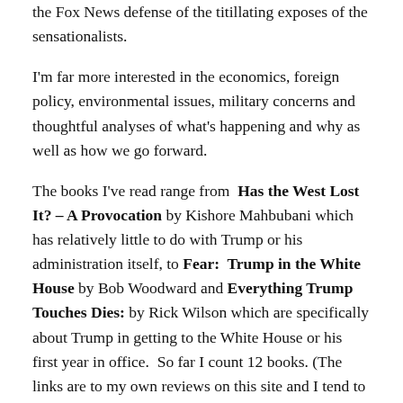the Fox News defense of the titillating exposes of the sensationalists.
I'm far more interested in the economics, foreign policy, environmental issues, military concerns and thoughtful analyses of what's happening and why as well as how we go forward.
The books I've read range from Has the West Lost It? – A Provocation by Kishore Mahbubani which has relatively little to do with Trump or his administration itself, to Fear: Trump in the White House by Bob Woodward and Everything Trump Touches Dies: by Rick Wilson which are specifically about Trump in getting to the White House or his first year in office. So far I count 12 books. (The links are to my own reviews on this site and I tend to rate a bit high, but there are no 10s on recent releases.)